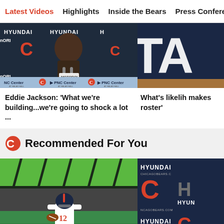Latest Videos | Highlights | Inside the Bears | Press Conferences
[Figure (photo): Eddie Jackson press conference at PNC Center at Halas Hall with Hyundai and Chicago Bears branding in background]
[Figure (photo): Partially visible image with 'TA' text on dark navy background, likely a Bears graphic]
Eddie Jackson: 'What we're building...we're going to shock a lot ...'
What's likelih makes roster'
Recommended For You
[Figure (photo): Chicago Bears player #12 in white uniform running with football on green field]
[Figure (photo): Chicago Bears and Hyundai branding backdrop with Bears C logo and Hyundai logos]